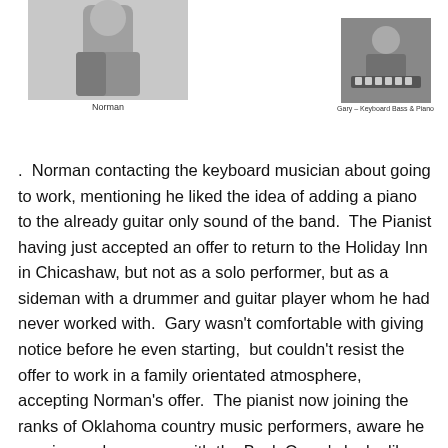[Figure (photo): Black and white photograph of Norman]
Norman
[Figure (photo): Black and white photograph of Gary at keyboard/piano]
Gary – Keyboard Bass & Piano
.  Norman contacting the keyboard musician about going to work, mentioning he liked the idea of adding a piano to the already guitar only sound of the band.  The Pianist having just accepted an offer to return to the Holiday Inn in Chicashaw, but not as a solo performer, but as a sideman with a drummer and guitar player whom he had never worked with.  Gary wasn't comfortable with giving notice before he even starting,  but couldn't resist the offer to work in a family orientated atmosphere, accepting Norman's offer.  The pianist now joining the ranks of Oklahoma country music performers, aware he was in good company with the Buck Owen's look alike Norman Powell and his family.  What Norman didn't know was,  by